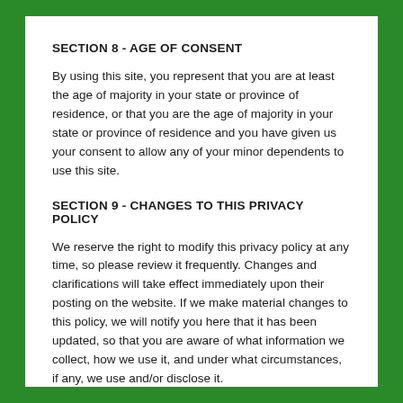SECTION 8 - AGE OF CONSENT
By using this site, you represent that you are at least the age of majority in your state or province of residence, or that you are the age of majority in your state or province of residence and you have given us your consent to allow any of your minor dependents to use this site.
SECTION 9 - CHANGES TO THIS PRIVACY POLICY
We reserve the right to modify this privacy policy at any time, so please review it frequently. Changes and clarifications will take effect immediately upon their posting on the website. If we make material changes to this policy, we will notify you here that it has been updated, so that you are aware of what information we collect, how we use it, and under what circumstances, if any, we use and/or disclose it.